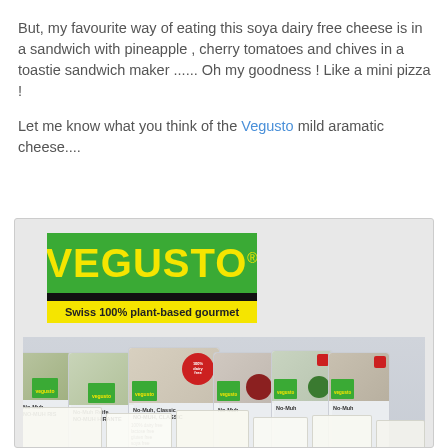But, my favourite way of eating this soya dairy free cheese is in a sandwich with pineapple , cherry tomatoes and chives in a toastie sandwich maker ...... Oh my goodness ! Like a mini pizza !
Let me know what you think of the Vegusto mild aramatic cheese....
[Figure (photo): Photo of Vegusto brand logo (green background with yellow text 'VEGUSTO', tagline 'Swiss 100% plant-based gourmet' on yellow bar) above a display of multiple Vegusto No-Muh cheese product packages including No-Muh Reife, No-Muh Classic variants, with white cheese blocks in the foreground.]